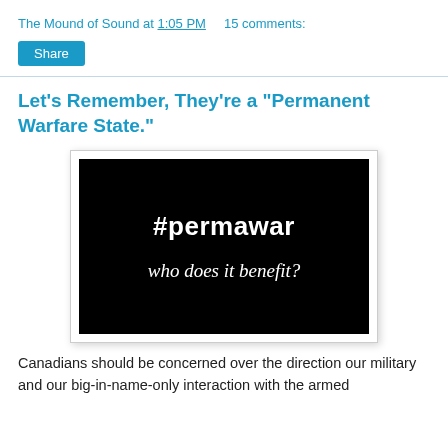The Mound of Sound at 1:05 PM    15 comments:
Share
Let's Remember, They're a "Permanent Warfare State."
[Figure (photo): Black image with white bold text '#permawar' and italic text 'who does it benefit?']
Canadians should be concerned over the direction our military and our big-in-name-only interaction with the armed